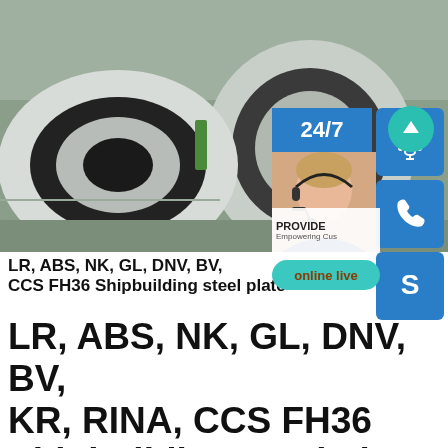[Figure (photo): Large steel coils/rolls stored in an industrial warehouse, shown in silver/metallic color. Overlaid with customer service UI elements: 24/7 badge, headset icon, person with headset image, phone icon, Skype icon, PROVIDE text, and online live button.]
LR, ABS, NK, GL, DNV, BV, CCS FH36 Shipbuilding steel plate
LR, ABS, NK, GL, DNV, BV, KR, RINA, CCS FH36 Shipbuilding steel plate